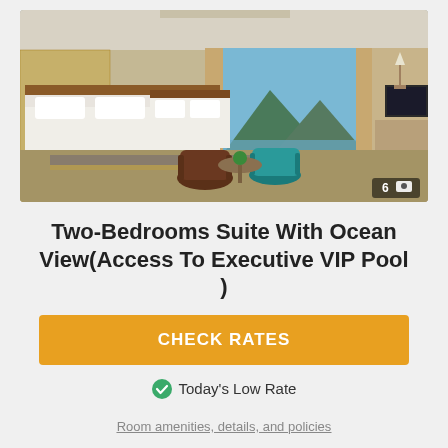[Figure (photo): Hotel suite interior showing two beds with white linens, wooden furniture, teal accent chairs, a small round table, and floor-to-ceiling windows with ocean and mountain view. A gallery badge showing '6' images is in the bottom right corner.]
Two-Bedrooms Suite With Ocean View(Access To Executive VIP Pool )
CHECK RATES
Today's Low Rate
Room amenities, details, and policies